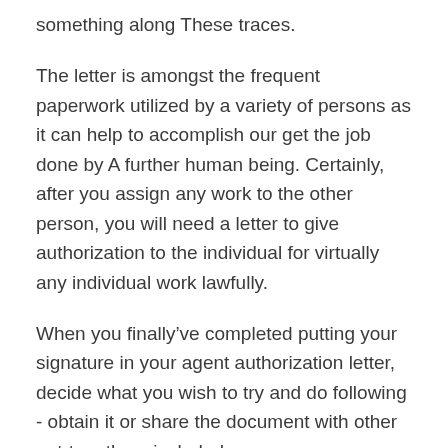something along These traces.
The letter is amongst the frequent paperwork utilized by a variety of persons as it can help to accomplish our get the job done by A further human being. Certainly, after you assign any work to the other person, you will need a letter to give authorization to the individual for virtually any individual work lawfully.
When you finally’ve completed putting your signature in your agent authorization letter, decide what you wish to try and do following - obtain it or share the document with other get-togethers included.
The Place of work will stay temporarily shut for all other expert services. All people are requested to stick to COVID recommendations.